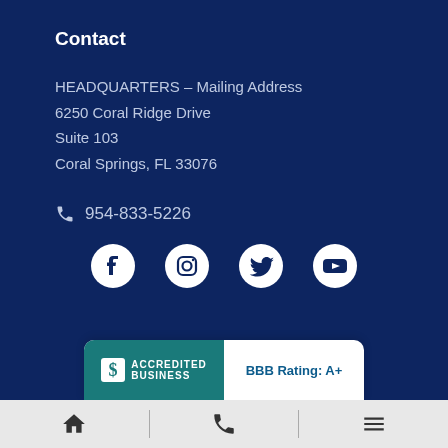Contact
HEADQUARTERS – Mailing Address
6250 Coral Ridge Drive
Suite 103
Coral Springs, FL 33076
954-833-5226
[Figure (other): Social media icons row: Facebook, Instagram, Twitter, YouTube]
[Figure (logo): BBB Accredited Business badge with BBB Rating: A+]
[Figure (other): Bottom navigation bar with home icon, phone icon, and menu icon]